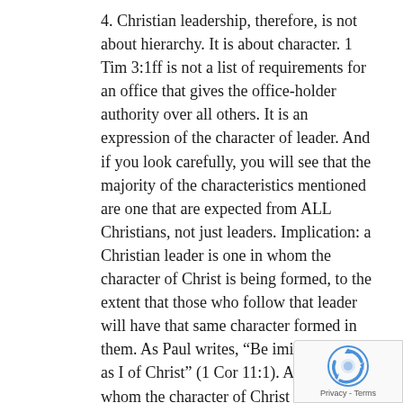4. Christian leadership, therefore, is not about hierarchy. It is about character. 1 Tim 3:1ff is not a list of requirements for an office that gives the office-holder authority over all others. It is an expression of the character of leader. And if you look carefully, you will see that the majority of the characteristics mentioned are one that are expected from ALL Christians, not just leaders. Implication: a Christian leader is one in whom the character of Christ is being formed, to the extent that those who follow that leader will have that same character formed in them. As Paul writes, “Be imitators of me, as I of Christ” (1 Cor 11:1). Anyone in whom the character of Christ is being formed can be a leader to those who are behind them on the path of the Christian
[Figure (other): reCAPTCHA badge with rotating arrows icon and Privacy - Terms text]